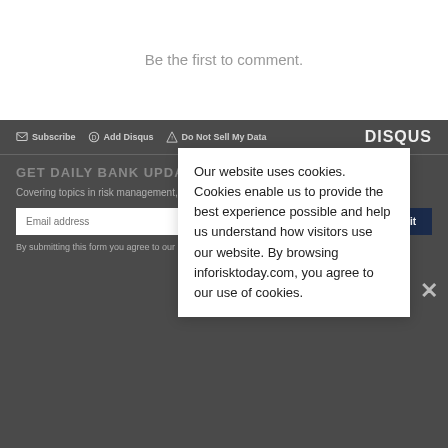Be the first to comment.
Subscribe  Add Disqus  Do Not Sell My Data  DISQUS
GET DAILY BANK UPDATES
Covering topics in risk management, compliance, fraud, and information security.
Email address  Submit
By submitting this form you agree to our Privacy & GDPR Statement
Our website uses cookies. Cookies enable us to provide the best experience possible and help us understand how visitors use our website. By browsing inforisktoday.com, you agree to our use of cookies.